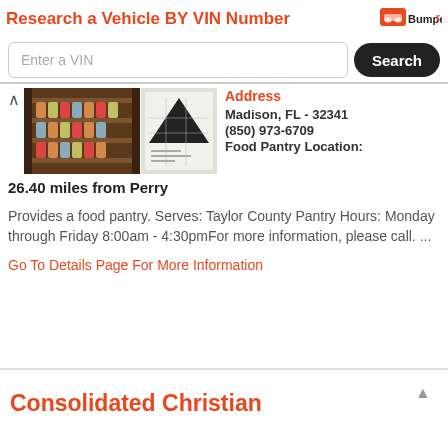Research a Vehicle BY VIN Number
Enter a VIN
Search
[Figure (photo): Two photos side by side: left shows shelves stocked with food pantry items (canned goods), right shows a partially visible building/room interior with a black triangular shape.]
Address
Madison, FL - 32341
(850) 973-6709
Food Pantry Location:
26.40 miles from Perry
Provides a food pantry. Serves: Taylor County Pantry Hours: Monday through Friday 8:00am - 4:30pmFor more information, please call. ...
Go To Details Page For More Information
Consolidated Christian